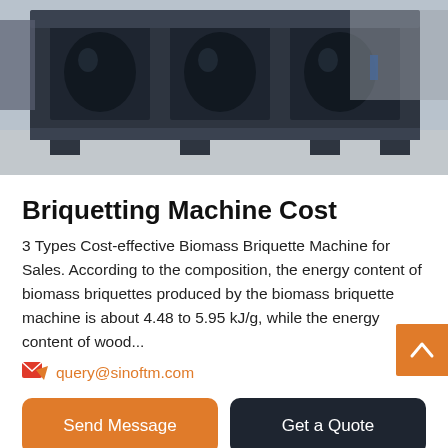[Figure (photo): Industrial briquetting machine/crusher equipment photographed in an outdoor factory yard, dark metal frame structure.]
Briquetting Machine Cost
3 Types Cost-effective Biomass Briquette Machine for Sales. According to the composition, the energy content of biomass briquettes produced by the biomass briquette machine is about 4.48 to 5.95 kJ/g, while the energy content of wood...
query@sinoftm.com
Send Message
Get a Quote
Recycling Of Paper Amp; Paper Dust With Briquette Presses
A short text describing briquetting and paper production of...